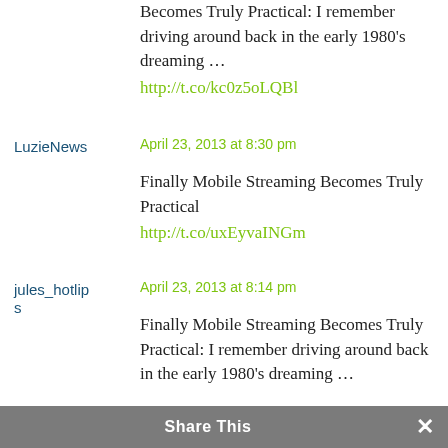Becomes Truly Practical: I remember driving around back in the early 1980's dreaming …
http://t.co/kc0z5oLQBl
LuzieNews
April 23, 2013 at 8:30 pm
Finally Mobile Streaming Becomes Truly Practical http://t.co/uxEyvaINGm
jules_hotlips
April 23, 2013 at 8:14 pm
Finally Mobile Streaming Becomes Truly Practical: I remember driving around back in the early 1980's dreaming …
Share This